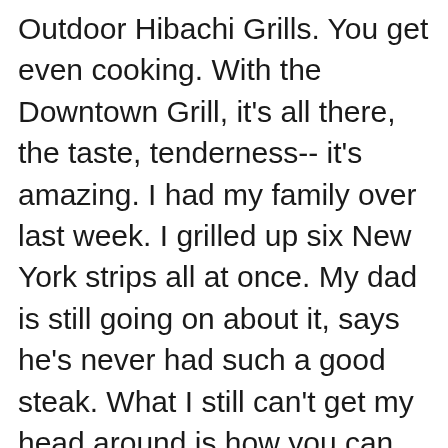Outdoor Hibachi Grills. You get even cooking. With the Downtown Grill, it's all there, the taste, tenderness-- it's amazing. I had my family over last week. I grilled up six New York strips all at once. My dad is still going on about it, says he's never had such a good steak. What I still can't get my head around is how you can have such a powerful electric grill, This is really the improved hibachi grill. Highly portable and easy to use, there are some really inventive features in this grill and when they work, they work great. Folded up it is a charcoal chimney which gets it hot and ready to grill in less than ten minutes with virtually no fuss..